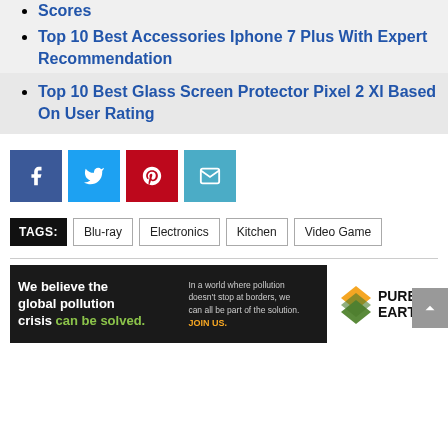Scores
Top 10 Best Accessories Iphone 7 Plus With Expert Recommendation
Top 10 Best Glass Screen Protector Pixel 2 Xl Based On User Rating
[Figure (infographic): Social share buttons: Facebook (dark blue), Twitter (light blue), Pinterest (red), Email (teal)]
TAGS: Blu-ray  Electronics  Kitchen  Video Game
[Figure (infographic): Pure Earth advertisement banner: We believe the global pollution crisis can be solved. In a world where pollution doesn't stop at borders, we can all be part of the solution. JOIN US. Pure Earth logo.]